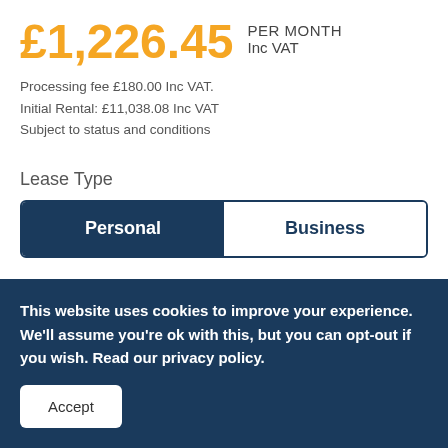£1,226.45 PER MONTH Inc VAT
Processing fee £180.00 Inc VAT.
Initial Rental: £11,038.08 Inc VAT
Subject to status and conditions
Lease Type
Personal | Business
Initial Rentals:
1  3  6  9  10
This website uses cookies to improve your experience. We'll assume you're ok with this, but you can opt-out if you wish. Read our privacy policy.
Accept